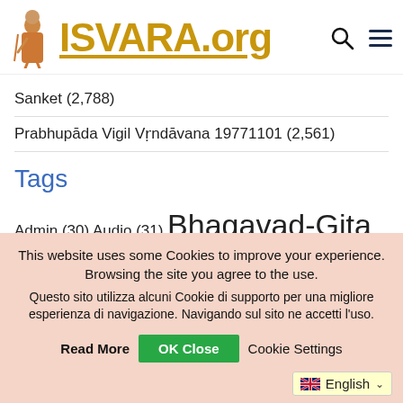ISVARA.org
Sanket (2,788)
Prabhupāda Vigil Vṛndāvana 19771101 (2,561)
Tags
Admin (30) Audio (31) Bhagavad-Gita (209) Email (10) Kadacha Books (207)
This website uses some Cookies to improve your experience. Browsing the site you agree to the use. Questo sito utilizza alcuni Cookie di supporto per una migliore esperienza di navigazione. Navigando sul sito ne accetti l'uso.
Read More | OK Close | Cookie Settings
English